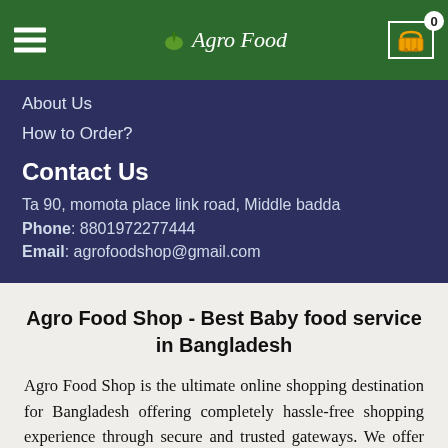Agro Food
About Us
How to Order?
Contact Us
Ta 90, momota place link road, Middle badda
Phone: 8801972277444
Email: agrofoodshop@gmail.com
Agro Food Shop - Best Baby food service in Bangladesh
Agro Food Shop is the ultimate online shopping destination for Bangladesh offering completely hassle-free shopping experience through secure and trusted gateways. We offer you trendy and reliable shopping with all your preferred brands and more. Now shopping